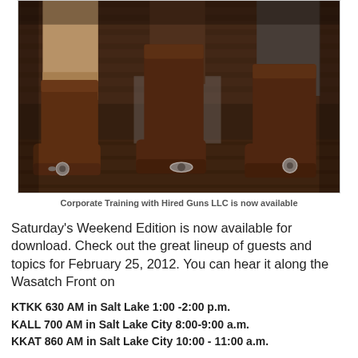[Figure (photo): Close-up photograph of cowboy boots with spurs worn by two people standing on wooden planks near a log wall. The boots are dark brown leather, knee-high style with ornate spur hardware.]
Corporate Training with Hired Guns LLC is now available
Saturday's Weekend Edition is now available for download. Check out the great lineup of guests and topics for February 25, 2012. You can hear it along the Wasatch Front on
KTKK 630 AM in Salt Lake 1:00 -2:00 p.m.
KALL 700 AM in Salt Lake City 8:00-9:00 a.m.
KKAT 860 AM in Salt Lake City 10:00 - 11:00 a.m.